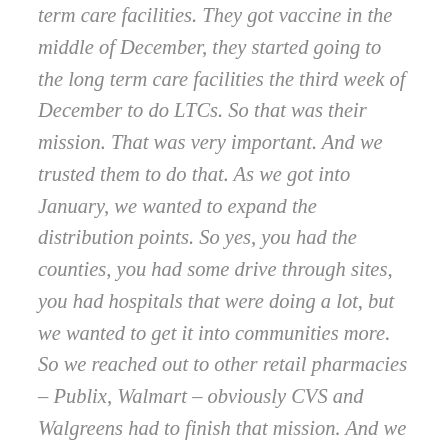term care facilities. They got vaccine in the middle of December, they started going to the long term care facilities the third week of December to do LTCs. So that was their mission. That was very important. And we trusted them to do that. As we got into January, we wanted to expand the distribution points. So yes, you had the counties, you had some drive through sites, you had hospitals that were doing a lot, but we wanted to get it into communities more. So we reached out to other retail pharmacies – Publix, Walmart – obviously CVS and Walgreens had to finish that mission. And we said, we're going to use you as soon as you're done with that. For the Publix, they were the first one to raise their hand, say